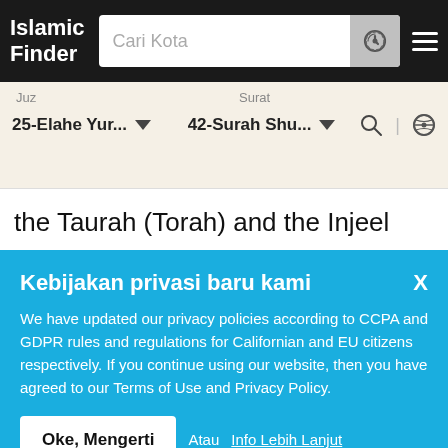Islamic Finder — Cari Kota
Juz   Surat
25-Elahe Yur...   42-Surah Shu...
the Taurah (Torah) and the Injeel (Gospel)] after them (i.e. Jews and Christians) are in grave doubt concerning it (i.e. Allah's true religion Islam or the Quran)
Kebijakan privasi baru kami
We have updated our privacy policies according to CCPA and GDPR rules and regulations for Californian and EU citizens respectively. If you continue using our website, then you have agreed to our Terms of Use and Privacy Policy.
Oke, Mengerti   Atau Info Lebih Lanjut